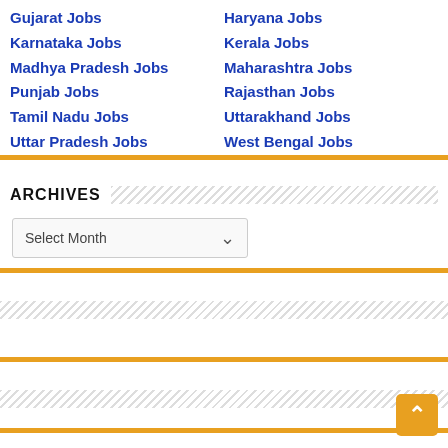Gujarat Jobs
Haryana Jobs
Karnataka Jobs
Kerala Jobs
Madhya Pradesh Jobs
Maharashtra Jobs
Punjab Jobs
Rajasthan Jobs
Tamil Nadu Jobs
Uttarakhand Jobs
Uttar Pradesh Jobs
West Bengal Jobs
ARCHIVES
Select Month